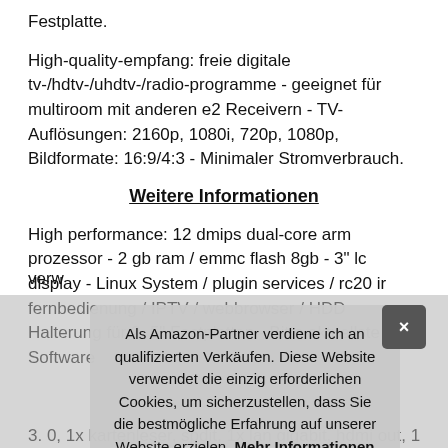Festplatte.
High-quality-empfang: freie digitale tv-/hdtv-/uhdtv-/radio-programme - geeignet für multiroom mit anderen e2 Receivern - TV-Auflösungen: 2160p, 1080i, 720p, 1080p, Bildformate: 16:9/4:3 - Minimaler Stromverbrauch.
Weitere Informationen
High performance: 12 dmips dual-core arm prozessor - 2 gb ram / emmc flash 8gb - 3" lc display - Linux System / plugin services / rc20 ir fernbedienung / IPTV / webbrowser / HDD Halterung für 2,5" Festplatten - Bitte aktuellste Software verw...
Zuk... aufl... aus...
3. 0, 1x kartenleser, spdit, 1x lan gigabit, hdmi out, 1X Common
Als Amazon-Partner verdiene ich an qualifizierten Verkäufen. Diese Website verwendet die einzig erforderlichen Cookies, um sicherzustellen, dass Sie die bestmögliche Erfahrung auf unserer Website erzielen. Mehr Informationen